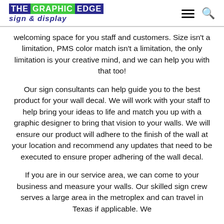THE GRAPHIC EDGE sign & display
welcoming space for you staff and customers. Size isn't a limitation, PMS color match isn't a limitation, the only limitation is your creative mind, and we can help you with that too!
Our sign consultants can help guide you to the best product for your wall decal. We will work with your staff to help bring your ideas to life and match you up with a graphic designer to bring that vision to your walls. We will ensure our product will adhere to the finish of the wall at your location and recommend any updates that need to be executed to ensure proper adhering of the wall decal.
If you are in our service area, we can come to your business and measure your walls. Our skilled sign crew serves a large area in the metroplex and can travel in Texas if applicable. We